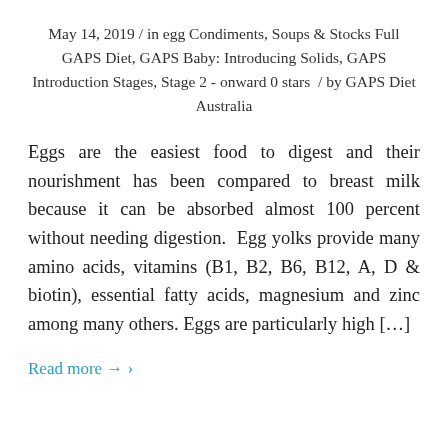May 14, 2019 / in egg Condiments, Soups & Stocks Full GAPS Diet, GAPS Baby: Introducing Solids, GAPS Introduction Stages, Stage 2 - onward 0 stars  / by GAPS Diet Australia
Eggs are the easiest food to digest and their nourishment has been compared to breast milk because it can be absorbed almost 100 percent without needing digestion.  Egg yolks provide many amino acids, vitamins (B1, B2, B6, B12, A, D & biotin), essential fatty acids, magnesium and zinc among many others. Eggs are particularly high […]
Read more → ›